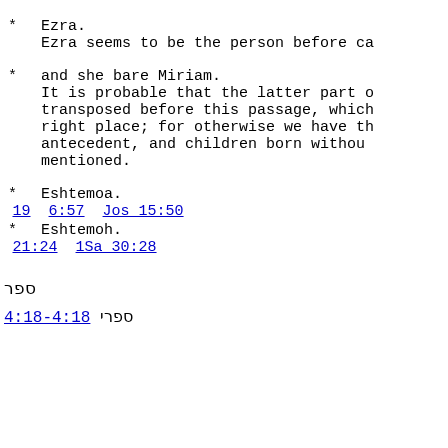* Ezra.
  Ezra seems to be the person before ca
* and she bare Miriam.
  It is probable that the latter part o
  transposed before this passage, which
  right place; for otherwise we have th
  antecedent, and children born withou
  mentioned.
* Eshtemoa.
 19  6:57  Jos 15:50
* Eshtemoh.
 21:24  1Sa 30:28
ספר
ספרי 4:18-4:18